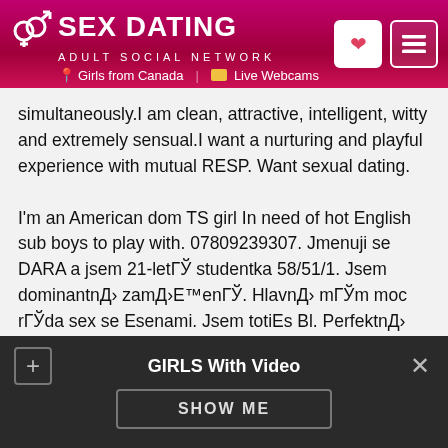[Figure (screenshot): Sex Dating adult social network website header with logo, gender symbols, heart button, and menu button. Navigation shows 'Girls from Canada' and 'Live Webcams'.]
simultaneously.I am clean, attractive, intelligent, witty and extremely sensual.I want a nurturing and playful experience with mutual RESP. Want sexual dating.

I'm an American dom TS girl In need of hot English sub boys to play with. 07809239307. Jmenuji se DARA a jsem 21-letГЎ studentka 58/51/1. Jsem dominantnД› zamД›E™enГЎ. HlavnД› mГЎm moc rГЎda sex se Esenami. Jsem totiEs Bl. PerfektnД› ovlГЎdГЎm rekondiДЌnГ a erotickГ© masГЎЕse. Jsem profi masГ©rka. ДД›lala jsem si kurz. NejlepЕЎГ co ti mЕЇЕsu nabГdnout je masГЎЕs prostaty, pЕ™i kterГ© budeЕЎ mГt nejintezivnД›jЕЎГ orgasmus jakГS si kdy zaЕsil. NenechГЎvej mД› dlouho ДЌekat. KlidnД› se mi
GIRLS With Video
SHOW ME